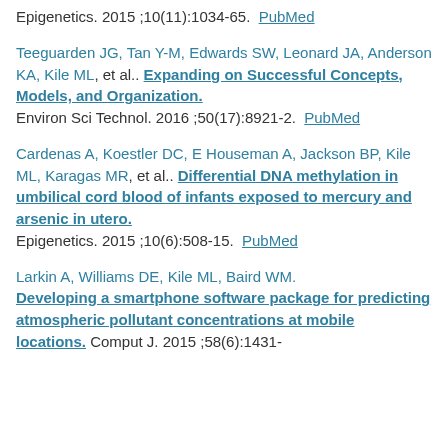Epigenetics. 2015 ;10(11):1034-65. PubMed
Teeguarden JG, Tan Y-M, Edwards SW, Leonard JA, Anderson KA, Kile ML, et al.. Expanding on Successful Concepts, Models, and Organization. Environ Sci Technol. 2016 ;50(17):8921-2. PubMed
Cardenas A, Koestler DC, E Houseman A, Jackson BP, Kile ML, Karagas MR, et al.. Differential DNA methylation in umbilical cord blood of infants exposed to mercury and arsenic in utero. Epigenetics. 2015 ;10(6):508-15. PubMed
Larkin A, Williams DE, Kile ML, Baird WM. Developing a smartphone software package for predicting atmospheric pollutant concentrations at mobile locations. Comput J. 2015 ;58(6):1431-